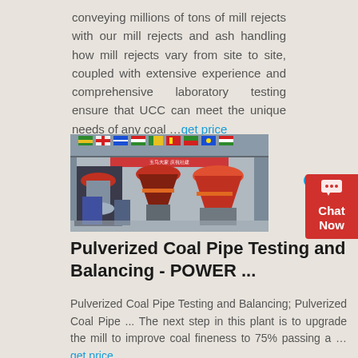conveying millions of tons of mill rejects with our mill rejects and ash handling how mill rejects vary from site to site, coupled with extensive experience and comprehensive laboratory testing ensure that UCC can meet the unique needs of any coal … get price
[Figure (photo): Industrial machinery in a large exhibition hall decorated with international flags. Large red and orange cone crushers and industrial equipment on display.]
Pulverized Coal Pipe Testing and Balancing - POWER ...
Pulverized Coal Pipe Testing and Balancing; Pulverized Coal Pipe ... The next step in this plant is to upgrade the mill to improve coal fineness to 75% passing a … get price